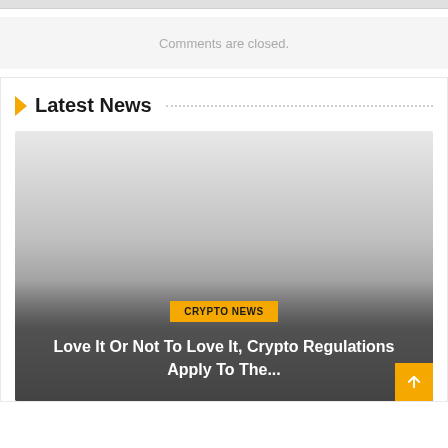Comments are closed.
Latest News
[Figure (photo): News article image with gradient overlay showing a dark-to-light gradient, crypto news badge and headline text overlay]
CRYPTO NEWS
Love It Or Not To Love It, Crypto Regulations Apply To The...